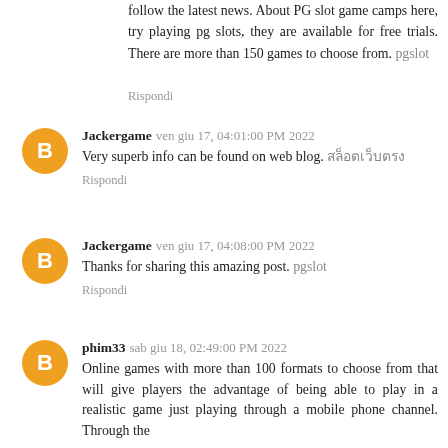follow the latest news. About PG slot game camps here, try playing pg slots, they are available for free trials. There are more than 150 games to choose from. pgslot
Rispondi
Jackergame  ven giu 17, 04:01:00 PM 2022
Very superb info can be found on web blog. สล็อตเว็บตรง
Rispondi
Jackergame  ven giu 17, 04:08:00 PM 2022
Thanks for sharing this amazing post. pgslot
Rispondi
phim33  sab giu 18, 02:49:00 PM 2022
Online games with more than 100 formats to choose from that will give players the advantage of being able to play in a realistic game just playing through a mobile phone channel. Through the